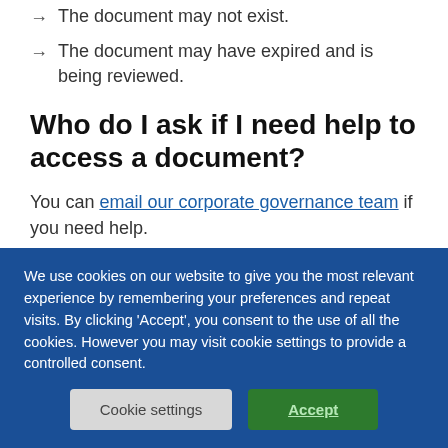→ The document may not exist.
→ The document may have expired and is being reviewed.
Who do I ask if I need help to access a document?
You can email our corporate governance team if you need help.
Who is responsible for the
We use cookies on our website to give you the most relevant experience by remembering your preferences and repeat visits. By clicking 'Accept', you consent to the use of all the cookies. However you may visit cookie settings to provide a controlled consent.